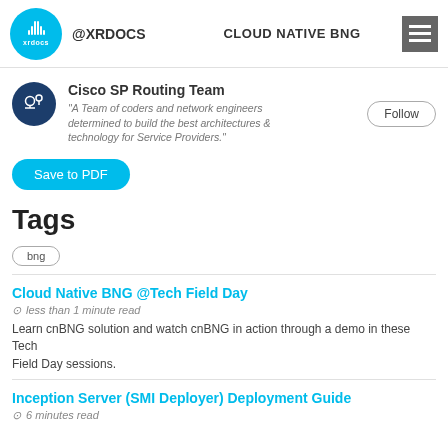@XRDOCS  CLOUD NATIVE BNG
Cisco SP Routing Team
"A Team of coders and network engineers determined to build the best architectures & technology for Service Providers."
Save to PDF
Tags
bng
Cloud Native BNG @Tech Field Day
less than 1 minute read
Learn cnBNG solution and watch cnBNG in action through a demo in these Tech Field Day sessions.
Inception Server (SMI Deployer) Deployment Guide
6 minutes read